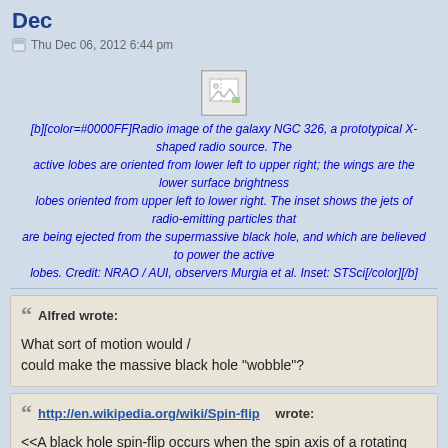Dec
Thu Dec 06, 2012 6:44 pm
[Figure (illustration): Small broken image placeholder icon in a box]
[b][color=#0000FF]Radio image of the galaxy NGC 326, a prototypical X-shaped radio source. The active lobes are oriented from lower left to upper right; the wings are the lower surface brightness lobes oriented from upper left to lower right. The inset shows the jets of radio-emitting particles that are being ejected from the supermassive black hole, and which are believed to power the active lobes. Credit: NRAO / AUI, observers Murgia et al. Inset: STSci[/color][/b]
Alfred wrote:
What sort of motion would /
could make the massive black hole "wobble"?
http://en.wikipedia.org/wiki/Spin-flip wrote:
<<A black hole spin-flip occurs when the spin axis of a rotating black hole undergoes a sudden change in orientation due to absorption of a second (smaller) black hole. Spin-flips are believed to be a consequence of galaxy mergers, when two supermassive black holes form a bound pair at the center of the merged galaxy and coalesce after emitting gravitational waves. Spin-flips are significant astrophysically since a number of physical processes are associated with black hole spins; for instance, jets in active galaxies are believed